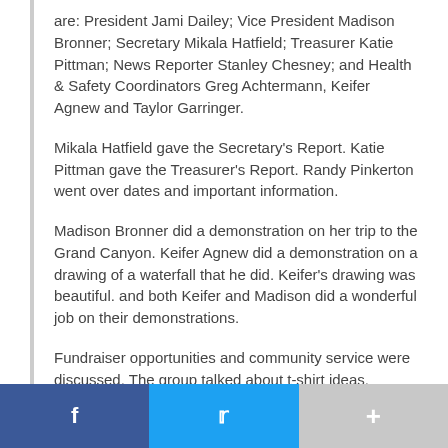are: President Jami Dailey; Vice President Madison Bronner; Secretary Mikala Hatfield; Treasurer Katie Pittman; News Reporter Stanley Chesney; and Health & Safety Coordinators Greg Achtermann, Keifer Agnew and Taylor Garringer.
Mikala Hatfield gave the Secretary's Report. Katie Pittman gave the Treasurer's Report. Randy Pinkerton went over dates and important information.
Madison Bronner did a demonstration on her trip to the Grand Canyon. Keifer Agnew did a demonstration on a drawing of a waterfall that he did. Keifer's drawing was beautiful. and both Keifer and Madison did a wonderful job on their demonstrations.
Fundraiser opportunities and community service were discussed. The group talked about t-shirt ideas.
The parents will do an online registration this year.
f  t  +